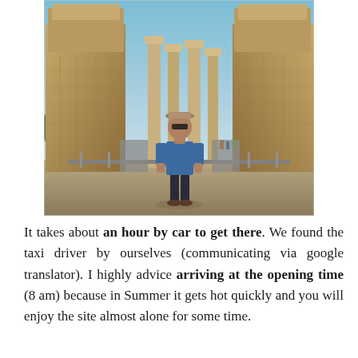[Figure (photo): A man in a blue shirt, dark pants, hat and sunglasses stands in front of two massive ancient stone guardian statues (lamassu) at Persepolis, Iran. Columns visible between the statues, paved walkway, trees and blue sky in background.]
It takes about an hour by car to get there. We found the taxi driver by ourselves (communicating via google translator). I highly advice arriving at the opening time (8 am) because in Summer it gets hot quickly and you will enjoy the site almost alone for some time.